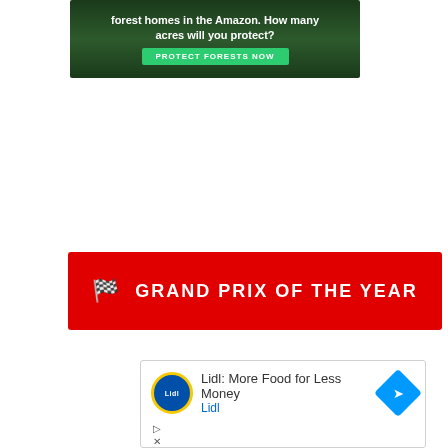[Figure (infographic): Amazon forest conservation advertisement banner with dark green jungle background, white bold text reading 'forest homes in the Amazon. How many acres will you protect?' and a green 'PROTECT FORESTS NOW' button]
[Figure (infographic): Red banner with checkered flag icon and white bold uppercase text: GRAND PRIX OF THE YEAR]
[Figure (infographic): Lidl advertisement box with Lidl logo, text 'Lidl: More Food for Less Money' and 'Lidl' in blue, with a blue diamond navigation icon, and ad control icons (play and close)]